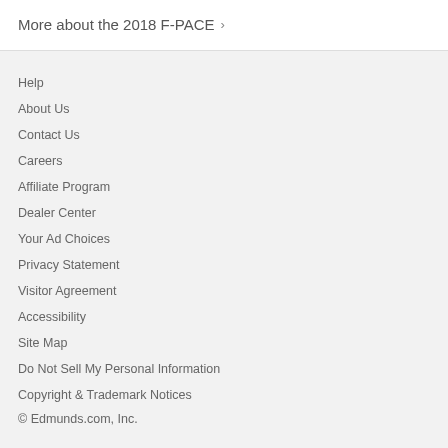More about the 2018 F-PACE >
Help
About Us
Contact Us
Careers
Affiliate Program
Dealer Center
Your Ad Choices
Privacy Statement
Visitor Agreement
Accessibility
Site Map
Do Not Sell My Personal Information
Copyright & Trademark Notices
© Edmunds.com, Inc.